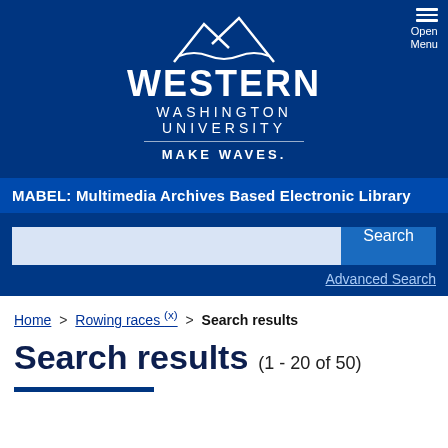[Figure (logo): Western Washington University logo with mountain graphic and 'MAKE WAVES.' tagline]
Open Menu
MABEL: Multimedia Archives Based Electronic Library
Search
Advanced Search
Home > Rowing races (x) > Search results
Search results (1 - 20 of 50)